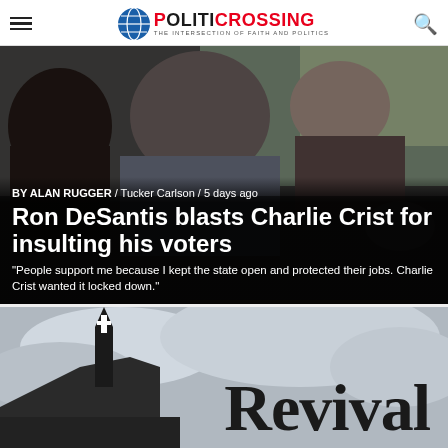POLITICROSSING — THE INTERSECTION OF FAITH AND POLITICS
[Figure (photo): Close-up photo of Ron DeSantis speaking outdoors, surrounded by people, with a woman visible in background near a vehicle.]
BY ALAN RUGGER / Tucker Carlson / 5 days ago
Ron DeSantis blasts Charlie Crist for insulting his voters
"People support me because I kept the state open and protected their jobs. Charlie Crist wanted it locked down."
[Figure (photo): Grayscale image of a church steeple with a cross against a cloudy sky, with the word Revival in large text on the right.]